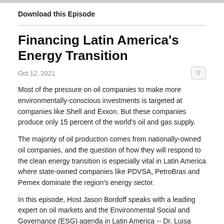Download this Episode
Financing Latin America's Energy Transition
Oct 12, 2021
Most of the pressure on oil companies to make more environmentally-conscious investments is targeted at companies like Shell and Exxon. But these companies produce only 15 percent of the world's oil and gas supply.
The majority of oil production comes from nationally-owned oil companies, and the question of how they will respond to the clean energy transition is especially vital in Latin America where state-owned companies like PDVSA, PetroBras and Pemex dominate the region's energy sector.
In this episode, Host Jason Bordoff speaks with a leading expert on oil markets and the Environmental Social and Governance (ESG) agenda in Latin America -- Dr. Luisa Palacios. She has special insight into this topic as a former board chair of the oil refiner Citgo, an energy firm owned by the Venezuala-based nationalized oil company, PDVSA.
Dr. Palacios is currently a Senior Research Scholar at CGEP and received a Masters degree at Columbia University. Previously, she was Medley Global Advisor's Head of Latin America. She also worked at Barclays Capital as a